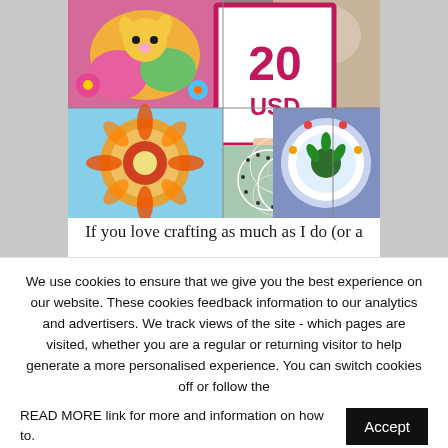[Figure (photo): Collage of craft images with a central card showing '20 USD' in crimson text on white background with pink border, surrounded by colorful artwork images including painted cat, mandala, string art, and decorated plates]
If you love crafting as much as I do (or a
We use cookies to ensure that we give you the best experience on our website. These cookies feedback information to our analytics and advertisers. We track views of the site - which pages are visited, whether you are a regular or returning visitor to help generate a more personalised experience. You can switch cookies off or follow the READ MORE link for more and information on how to.
Accept
Read More